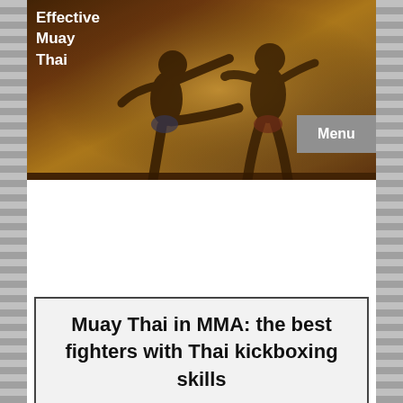Effective Muay Thai
[Figure (photo): Two Muay Thai fighters in action, one kicking the other, set against a warm golden-brown atmospheric background]
Muay Thai in MMA: the best fighters with Thai kickboxing skills
...